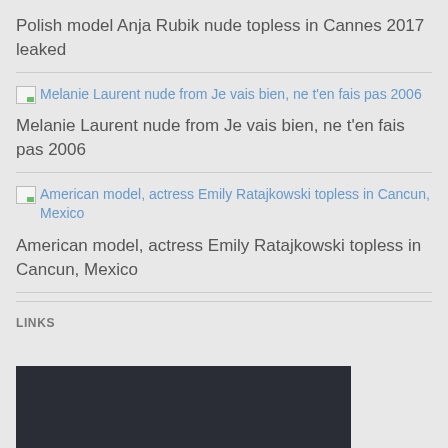Polish model Anja Rubik nude topless in Cannes 2017 leaked
[Figure (photo): Broken image placeholder for Melanie Laurent nude from Je vais bien, ne t'en fais pas 2006]
Melanie Laurent nude from Je vais bien, ne t'en fais pas 2006
[Figure (photo): Broken image placeholder for American model, actress Emily Ratajkowski topless in Cancun, Mexico]
American model, actress Emily Ratajkowski topless in Cancun, Mexico
LINKS
[Figure (photo): Dark image block at bottom of page]